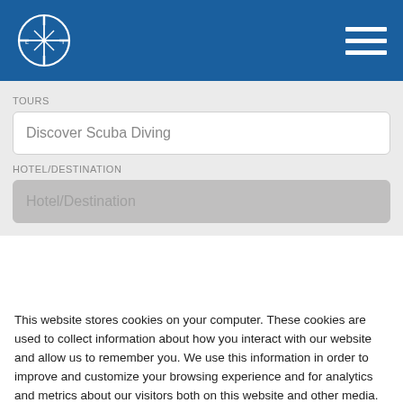[Figure (logo): Circular crosshair/compass logo in white on blue background, with L and T letters on the horizontal axis]
TOURS
Discover Scuba Diving
HOTEL/DESTINATION
Hotel/Destination
This website stores cookies on your computer. These cookies are used to collect information about how you interact with our website and allow us to remember you. We use this information in order to improve and customize your browsing experience and for analytics and metrics about our visitors both on this website and other media. To find out more about the cookies we use, see our Privacy Policy.
Accept